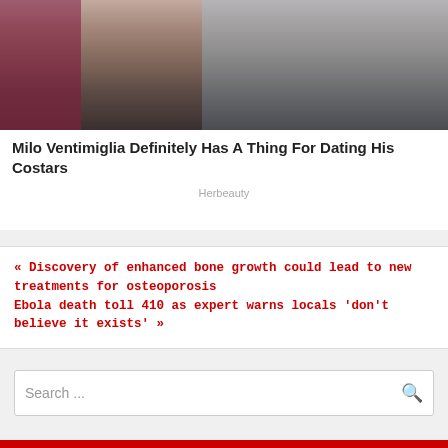[Figure (photo): Two people standing at what appears to be a food stall or street food vendor. One person wearing a white graphic t-shirt and dark jeans, another in a grey shirt. Food and drinks visible in background.]
Milo Ventimiglia Definitely Has A Thing For Dating His Costars
Herbeauty
« Discovery of enhanced bone growth could lead to new treatments for osteoporosis
Ebola death toll 410 as expert warns locals 'don't believe it exists' »
Search ...